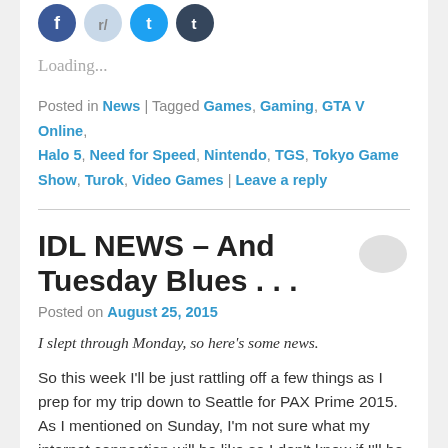[Figure (illustration): Four social media icon circles: Facebook (blue), Reddit (light blue/grey), Twitter (blue), Tumblr (dark blue)]
Loading...
Posted in News | Tagged Games, Gaming, GTA V Online, Halo 5, Need for Speed, Nintendo, TGS, Tokyo Game Show, Turok, Video Games | Leave a reply
IDL NEWS – And Tuesday Blues . . .
Posted on August 25, 2015
I slept through Monday, so here's some news.
So this week I'll be just rattling off a few things as I prep for my trip down to Seattle for PAX Prime 2015. As I mentioned on Sunday, I'm not sure what my internet connection will be like so I don't know if I'll be posting a daily update or not, but expect a full report when I return